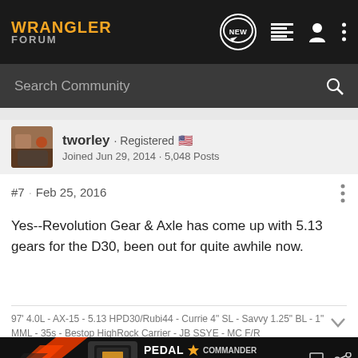WRANGLER FORUM
Search Community
tworley · Registered 🇺🇸
Joined Jun 29, 2014 · 5,048 Posts
#7 · Feb 25, 2016
Yes--Revolution Gear & Axle has come up with 5.13 gears for the D30, been out for quite awhile now.
97' 4.0L - AX-15 - 5.13 HPD30/Rubi44 - Currie 4" SL - Savvy 1.25" BL - 1" MML - 35s - Bestop HighRock Carrier - JB SSYE - MC F/R
[Figure (screenshot): Pedal Commander advertisement banner]